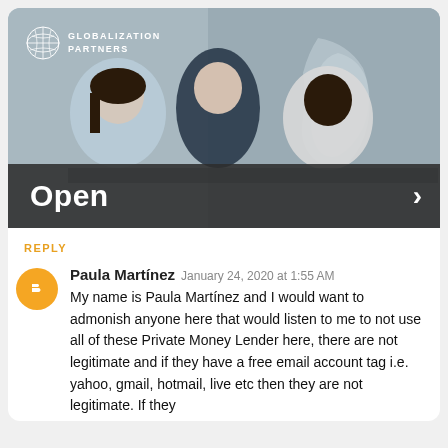[Figure (photo): Photo of three business professionals — a woman with long dark hair, a man in a dark suit, and a woman with glasses and natural hair — looking at a laptop together. A wooden wall with a world map is visible in the background. A 'Globalization Partners' logo with a globe icon appears in the top-left corner. A dark semi-transparent bar overlays the bottom of the image with the word 'Open' on the left and a right-pointing chevron on the right.]
REPLY
Paula Martínez  January 24, 2020 at 1:55 AM
My name is Paula Martínez and I would want to admonish anyone here that would listen to me to not use all of these Private Money Lender here, there are not legitimate and if they have a free email account tag i.e. yahoo, gmail, hotmail, live etc then they are not legitimate. If they